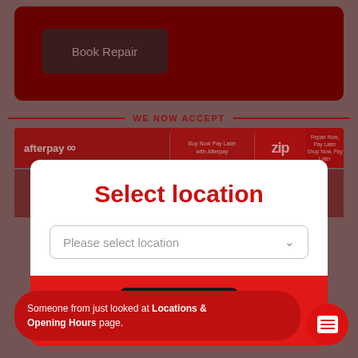[Figure (screenshot): Mobile website screenshot showing a 'Book Repair' button on a dark red background, a 'WE NOW ACCEPT' banner with Afterpay and Zip payment logos, and a modal dialog asking the user to 'Select location' with a dropdown and Cancel button, plus a notification bar at the bottom.]
Book Repair
WE NOW ACCEPT
Buy Now Pay Later with Afterpay
Repair Now, Pay Later Shop Now, Pay Later
Select location
Please select location
Cancel
Someone from just looked at Locations & Opening Hours page.